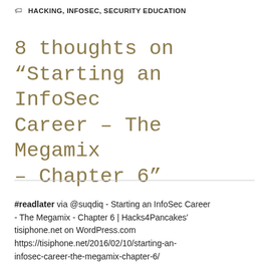HACKING, INFOSEC, SECURITY EDUCATION
8 thoughts on “Starting an InfoSec Career – The Megamix – Chapter 6”
#readlater via @suqdiq - Starting an InfoSec Career - The Megamix - Chapter 6 | Hacks4Pancakes' tisiphone.net on WordPress.com https://tisiphone.net/2016/02/10/starting-an-infosec-career-the-megamix-chapter-6/